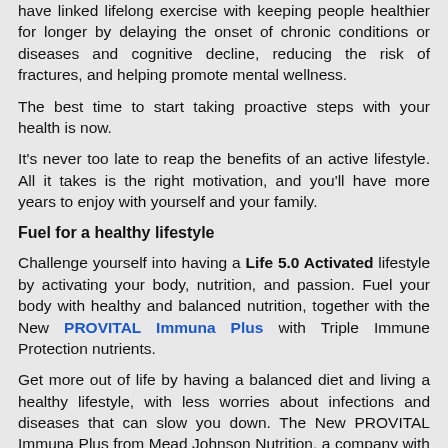have linked lifelong exercise with keeping people healthier for longer by delaying the onset of chronic conditions or diseases and cognitive decline, reducing the risk of fractures, and helping promote mental wellness.
The best time to start taking proactive steps with your health is now.
It's never too late to reap the benefits of an active lifestyle. All it takes is the right motivation, and you'll have more years to enjoy with yourself and your family.
Fuel for a healthy lifestyle
Challenge yourself into having a Life 5.0 Activated lifestyle by activating your body, nutrition, and passion. Fuel your body with healthy and balanced nutrition, together with the New PROVITAL Immuna Plus with Triple Immune Protection nutrients.
Get more out of life by having a balanced diet and living a healthy lifestyle, with less worries about infections and diseases that can slow you down. The New PROVITAL Immuna Plus from Mead Johnson Nutrition, a company with over a century of science-based nutrition experience, has Triple Immune Protection nutrients. It is formulated with